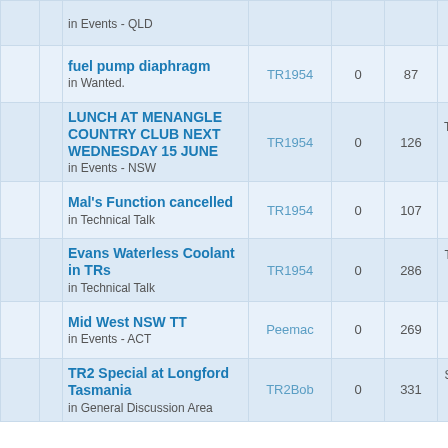|  |  | Topic | Author | Replies | Views | Last Post |
| --- | --- | --- | --- | --- | --- | --- |
|  |  | [partial] in Events - QLD |  |  |  | dragonlady |
|  |  | fuel pump diaphragm
in Wanted. | TR1954 | 0 | 87 | Tue Jun 21, 2022 10:37 pm
TR1954 |
|  |  | LUNCH AT MENANGLE COUNTRY CLUB NEXT WEDNESDAY 15 JUNE
in Events - NSW | TR1954 | 0 | 126 | Thu Jun 09, 2022 7:16 pm
TR1954 |
|  |  | Mal's Function cancelled
in Technical Talk | TR1954 | 0 | 107 | Thu May 12, 2022 5:45 pm
TR1954 |
|  |  | Evans Waterless Coolant in TRs
in Technical Talk | TR1954 | 0 | 286 | Thu Apr 21, 2022 7:28 pm
TR1954 |
|  |  | Mid West NSW TT
in Events - ACT | Peemac | 0 | 269 | Tue Mar 08, 2022 10:06 am
Peemac |
|  |  | TR2 Special at Longford Tasmania
in General Discussion Area | TR2Bob | 0 | 331 | Sat Feb 19, 2022 3:57 pm
TR2Bob |